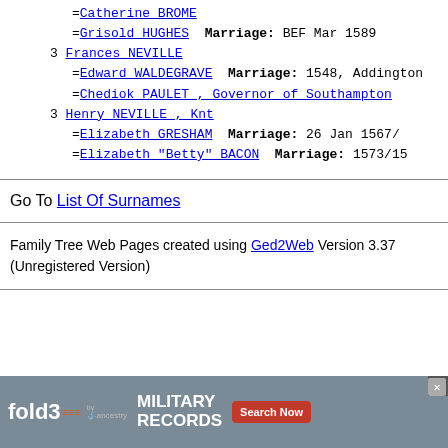=Catherine BROME
=Grisold HUGHES  Marriage: BEF Mar 1589
3 Frances NEVILLE
=Edward WALDEGRAVE  Marriage: 1548, Addington
=Chediok PAULET , Governor of Southampton
3 Henry NEVILLE , Knt
=Elizabeth GRESHAM  Marriage: 26 Jan 1567/
=Elizabeth "Betty" BACON  Marriage: 1573/15
Go To List Of Surnames
Family Tree Web Pages created using Ged2Web Version 3.37 (Unregistered Version)
[Figure (infographic): fold3 by Ancestry advertisement banner for Military Records with Search Now button]